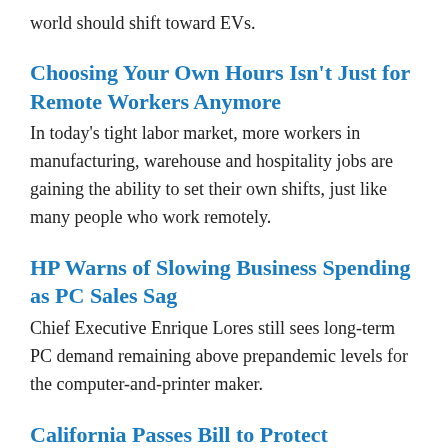world should shift toward EVs.
Choosing Your Own Hours Isn't Just for Remote Workers Anymore
In today's tight labor market, more workers in manufacturing, warehouse and hospitality jobs are gaining the ability to set their own shifts, just like many people who work remotely.
HP Warns of Slowing Business Spending as PC Sales Sag
Chief Executive Enrique Lores still sees long-term PC demand remaining above prepandemic levels for the computer-and-printer maker.
California Passes Bill to Protect Children's Health on Social Media
The bill would for the first time in the U.S. require the